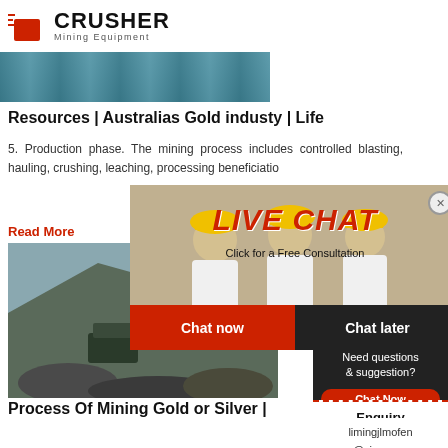[Figure (logo): Crusher Mining Equipment logo with shopping bag icon and bold CRUSHER text]
[Figure (photo): Top partial image of shipping containers or industrial structure]
Resources | Australias Gold industy | Life
5. Production phase. The mining process includes controlled blasting, hauling, crushing, leaching, processing beneficiatio
Read More
[Figure (photo): Mining quarry/open pit with excavation equipment and rocks]
[Figure (infographic): Live Chat popup overlay with workers in hard hats background, LIVE CHAT title, Click for a Free Consultation, Chat now and Chat later buttons]
[Figure (photo): Female customer service operator with headset on right sidebar]
Process Of Mining Gold or Silver |
Precious metal deposits are found in varying qu around the world. In the last century, new techn contributed to a large rise in the overall product
Read More
24Hrs Online
Need questions & suggestion?
Chat Now
Enquiry
limingjlmofen@sina.com